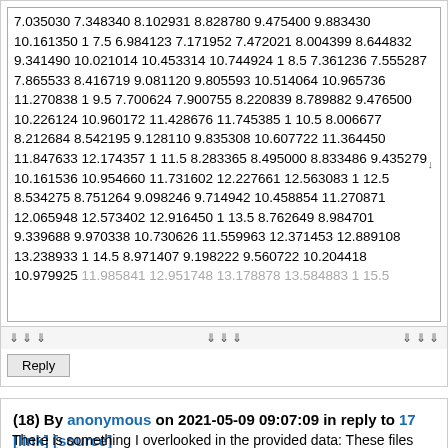7.035030 7.348340 8.102931 8.828780 9.475400 9.883430 10.161350 1 7.5 6.984123 7.171952 7.472021 8.004399 8.644832 9.341490 10.021014 10.453314 10.744924 1 8.5 7.361236 7.555287 7.865533 8.416719 9.081120 9.805593 10.514064 10.965736 11.270838 1 9.5 7.700624 7.900755 8.220839 8.789882 9.476500 10.226124 10.960172 11.428676 11.745385 1 10.5 8.006677 8.212684 8.542195 9.128110 9.835308 10.607722 11.364450 11.847633 12.174357 1 11.5 8.283365 8.495000 8.833486 9.435279 10.161536 10.954660 11.731602 12.227661 12.563083 1 12.5 8.534275 8.751264 9.098246 9.714942 10.458854 11.270871 12.065948 12.573402 12.916450 1 13.5 8.762649 8.984701 9.339688 9.970338 10.730626 11.559963 12.371453 12.889108 13.238933 1 14.5 8.971407 9.198222 9.560722 10.204418 10.979925 11.985841 12.951748 13.178878 13.584883 1 15.5
(18) By anonymous on 2021-05-09 09:07:09 in reply to 17
[link] [source]
There is something I overlooked in the provided data: These files contain the L, M, and S parameters needed to generate centile curves, but not more. Cut the ref files for how...